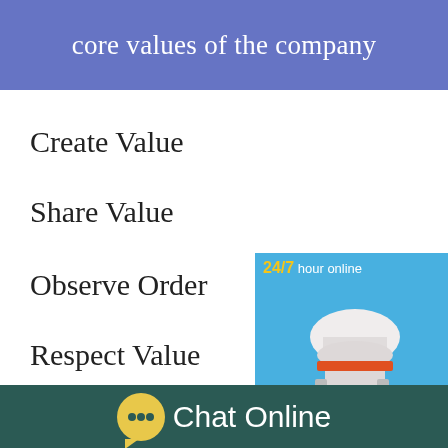core values of the company
Create Value
Share Value
Observe Order
Respect Value
[Figure (photo): Industrial cone crusher machine with blue background, showing 24/7 hour online ad with 'Click me to chat>>' button]
Chat Online